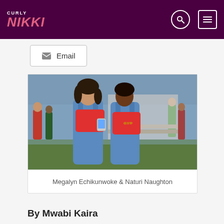CURLY NIKKI
Email
[Figure (photo): Two women in denim overalls and red shirts at an outdoor campus event. One appears to be Megalyn Echikunwoke and the other Naturi Naughton.]
Megalyn Echikunwoke & Naturi Naughton
By Mwabi Kaira